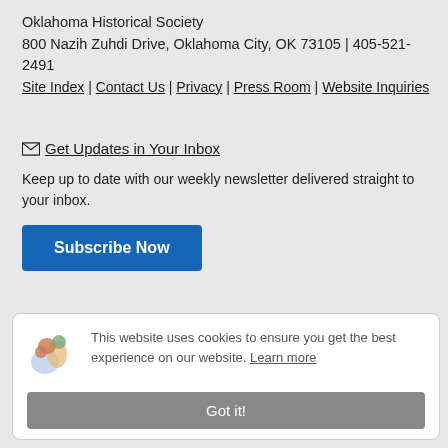Oklahoma Historical Society
800 Nazih Zuhdi Drive, Oklahoma City, OK 73105 | 405-521-2491
Site Index | Contact Us | Privacy | Press Room | Website Inquiries
Get Updates in Your Inbox
Keep up to date with our weekly newsletter delivered straight to your inbox.
Subscribe Now
This website uses cookies to ensure you get the best experience on our website. Learn more
Got it!